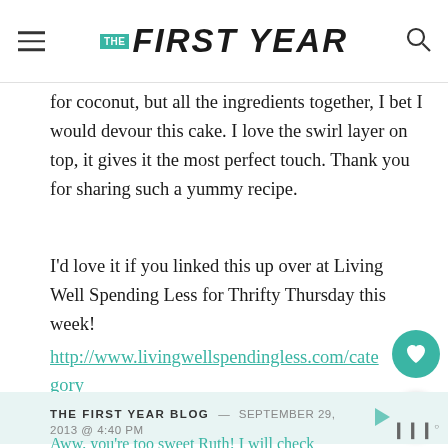THE FIRST YEAR
for coconut, but all the ingredients together, I bet I would devour this cake. I love the swirl layer on top, it gives it the most perfect touch. Thank you for sharing such a yummy recipe.
I'd love it if you linked this up over at Living Well Spending Less for Thrifty Thursday this week! http://www.livingwellspendingless.com/category/thrifty-thursday/
THE FIRST YEAR BLOG — SEPTEMBER 29, 2013 @ 4:40 PM
Aww, you're too sweet Ruth! I will check